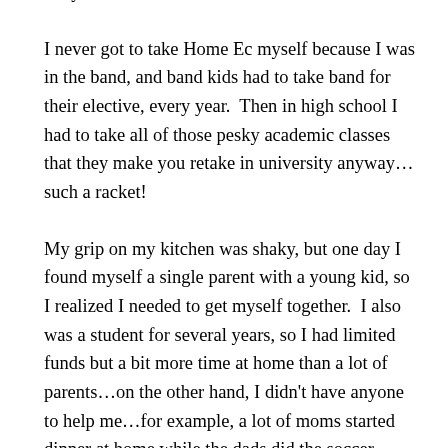lab years before we arrived.
I never got to take Home Ec myself because I was in the band, and band kids had to take band for their elective, every year.  Then in high school I had to take all of those pesky academic classes that they make you retake in university anyway…such a racket!
My grip on my kitchen was shaky, but one day I found myself a single parent with a young kid, so I realized I needed to get myself together.  I also was a student for several years, so I had limited funds but a bit more time at home than a lot of parents…on the other hand, I didn't have anyone to help me…for example, a lot of moms started dinner at home while the dads did the soccer practice run, but I had to do both, and still get the kid into bed by 8 at the latest, or my life wasn't worth living.
I also had a limited income, and I challenged myself to maximize my quality of life without overspending, so I could continue to have